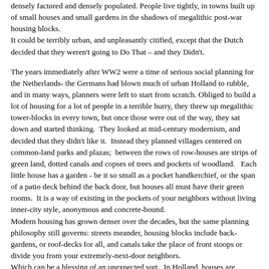densely factored and densely populated. People live tightly, in towns built up of small houses and small gardens in the shadows of megalithic post-war housing blocks.
It could be terribly urban, and unpleasantly citified, except that the Dutch decided that they weren't going to Do That – and they Didn't.

The years immediately after WW2 were a time of serious social planning for the Netherlands- the Germans had blown much of urban Holland to rubble, and in many ways, planners were left to start from scratch. Obliged to build a lot of housing for a lot of people in a terrible hurry, they threw up megalithic tower-blocks in every town, but once those were out of the way, they sat down and started thinking.  They looked at mid-century modernism, and decided that they didn't like it.  Instead they planned villages centered on common-land parks and plazas;  between the rows of row-houses are strips of green land, dotted canals and copses of trees and pockets of woodland.   Each little house has a garden - be it so small as a pocket handkerchief, or the span of a patio deck behind the back door, but houses all must have their green rooms.  It is a way of existing in the pockets of your neighbors without living inner-city style, anonymous and concrete-bound.
Modern housing has grown denser over the decades, but the same planning philosophy still governs: streets meander, housing blocks include back-gardens, or roof-decks for all, and canals take the place of front stoops or divide you from your extremely-next-door neighbors.
Which can be a blessing of an unexpected sort.  In Holland, houses are